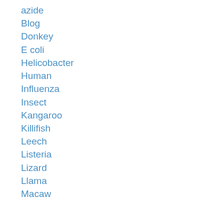azide
Blog
Donkey
E coli
Helicobacter
Human
Influenza
Insect
Kangaroo
Killifish
Leech
Listeria
Lizard
Llama
Macaw